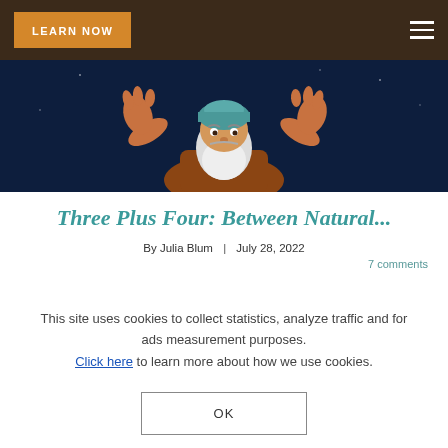LEARN NOW
[Figure (illustration): Fantasy illustration of a bearded wizard/elder man with white beard and turban, wearing robes, with arms raised, against a dark blue night sky background.]
Three Plus Four: Between Natural...
By Julia Blum | July 28, 2022
7 comments
Join the conversation (be the first to comment)
This site uses cookies to collect statistics, analyze traffic and for ads measurement purposes. Click here to learn more about how we use cookies.
OK